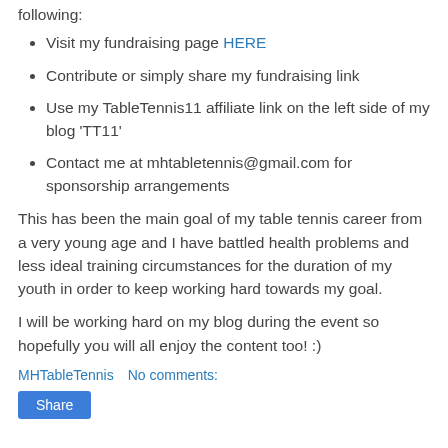following:
Visit my fundraising page HERE
Contribute or simply share my fundraising link
Use my TableTennis11 affiliate link on the left side of my blog 'TT11'
Contact me at mhtabletennis@gmail.com for sponsorship arrangements
This has been the main goal of my table tennis career from a very young age and I have battled health problems and less ideal training circumstances for the duration of my youth in order to keep working hard towards my goal.
I will be working hard on my blog during the event so hopefully you will all enjoy the content too! :)
MHTableTennis   No comments:
Share